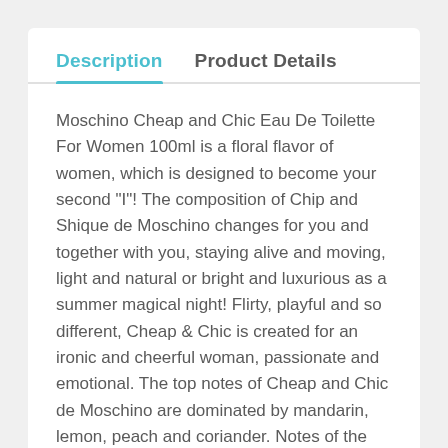Description | Product Details
Moschino Cheap and Chic Eau De Toilette For Women 100ml is a floral flavor of women, which is designed to become your second "I"! The composition of Chip and Shique de Moschino changes for you and together with you, staying alive and moving, light and natural or bright and luxurious as a summer magical night! Flirty, playful and so different, Cheap & Chic is created for an ironic and cheerful woman, passionate and emotional. The top notes of Cheap and Chic de Moschino are dominated by mandarin, lemon, peach and coriander. Notes of the Heart: iris, rose, freesia, cyclamen. Basic notes: vanilla, cedar, musk, woody moss.
Cheap and Chic de Moschino fragrance was